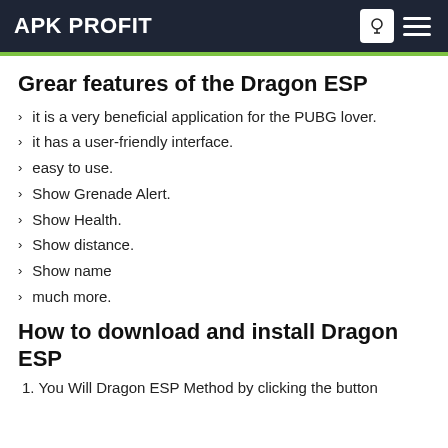APK PROFIT
Grear features of the Dragon ESP
it is a very beneficial application for the PUBG lover.
it has a user-friendly interface.
easy to use.
Show Grenade Alert.
Show Health.
Show distance.
Show name
much more.
How to download and install Dragon ESP
1. You Will Dragon ESP Method by clicking the button